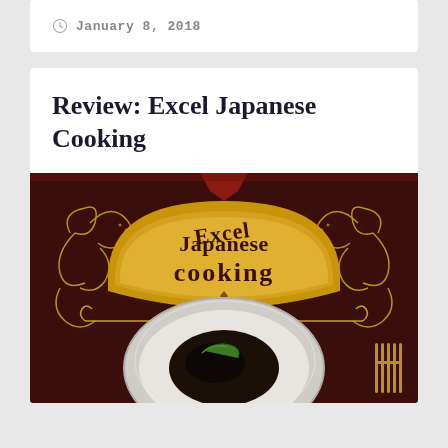January 8, 2018
Review: Excel Japanese Cooking
[Figure (illustration): Book cover for 'Excel Japanese Cooking' — dark brown/maroon background with ornate gold decorative swirls and flourishes. A large gold arch-shaped banner displays the title 'Excel Japanese cooking' in bold stylized lettering. Below the banner is a photograph of a Japanese dish — a white plate with dark colored food and green garnish (possibly mussel or seafood dish). A gold fork icon is visible at the bottom right.]